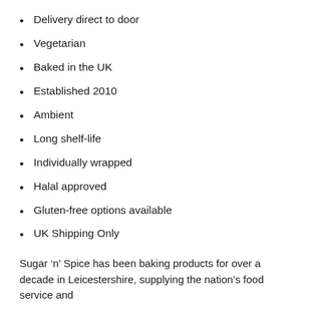Delivery direct to door
Vegetarian
Baked in the UK
Established 2010
Ambient
Long shelf-life
Individually wrapped
Halal approved
Gluten-free options available
UK Shipping Only
Sugar ‘n’ Spice has been baking products for over a decade in Leicestershire, supplying the nation’s food service and